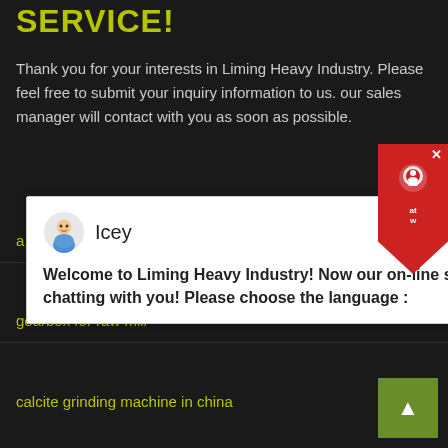SERVICE!
Thank you for your interests in Liming Heavy Industry. Please feel free to submit your inquiry information to us. our sales manager will contact with you as soon as possible.
[Figure (screenshot): Chat popup with agent named 'Icey' and message: Welcome to Liming Heavy Industry! Now our on-line service is chatting with you! Please choose the language :]
a mobile crusher machine cost
gearbox for raw mill
calcite grinding machine in china